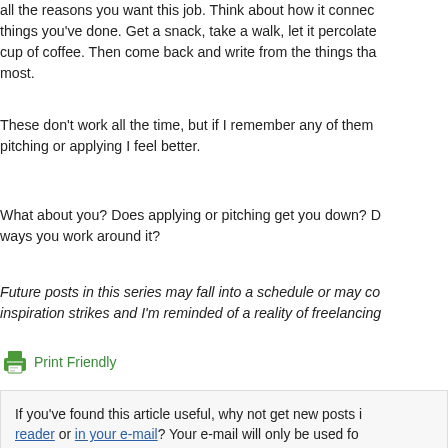all the reasons you want this job. Think about how it connects to things you've done. Get a snack, take a walk, let it percolate cup of coffee. Then come back and write from the things that most.
These don't work all the time, but if I remember any of them pitching or applying I feel better.
What about you? Does applying or pitching get you down? D ways you work around it?
Future posts in this series may fall into a schedule or may co inspiration strikes and I'm reminded of a reality of freelancing
[Figure (other): Print Friendly button with printer icon in green]
If you've found this article useful, why not get new posts in reader or in your e-mail? Your e-mail will only be used for and you can unsubscribe at any time.